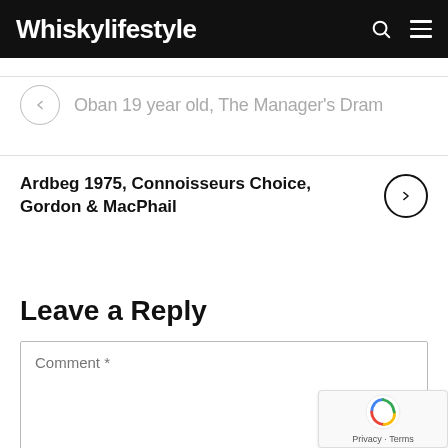Whiskylifestyle
Oban 19 year old, The Manager's Dram
Ardbeg 1975, Connoisseurs Choice, Gordon & MacPhail
Leave a Reply
Comment *